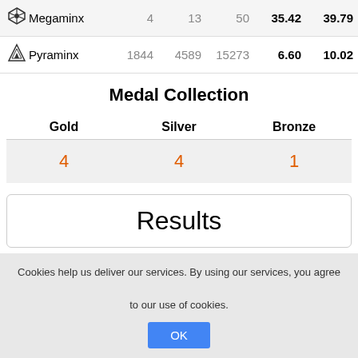| Event |  |  |  |  |  |
| --- | --- | --- | --- | --- | --- |
| Megaminx | 4 | 13 | 50 | 35.42 | 39.79 |
| Pyraminx | 1844 | 4589 | 15273 | 6.60 | 10.02 |
Medal Collection
| Gold | Silver | Bronze |
| --- | --- | --- |
| 4 | 4 | 1 |
Results
Championship Podiums
Cookies help us deliver our services. By using our services, you agree to our use of cookies.